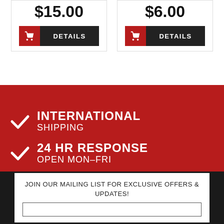$15.00
$6.00
[Figure (infographic): Red section with white checkmarks showing: INTERNATIONAL SHIPPING, 24 HR RESPONSE OPEN MON-FRI, 24 HR SHIPPING OPEN MON-FRI]
JOIN OUR MAILING LIST FOR EXCLUSIVE OFFERS & UPDATES!